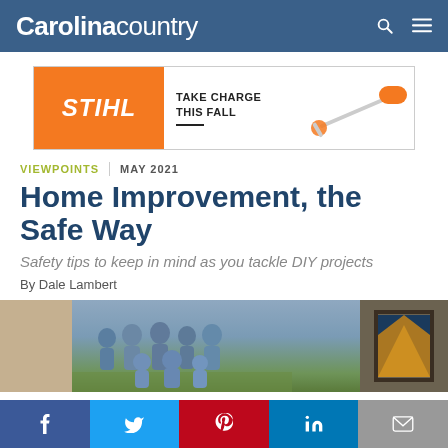Carolina country
[Figure (other): STIHL advertisement banner: orange STIHL logo on left, text 'TAKE CHARGE THIS FALL' in center, image of a battery-powered string trimmer on right]
VIEWPOINTS | MAY 2021
Home Improvement, the Safe Way
Safety tips to keep in mind as you tackle DIY projects
By Dale Lambert
[Figure (photo): Photo of a family group posing outdoors, partially visible, with framed artwork partially visible on the right side]
Social share buttons: Facebook, Twitter, Pinterest, LinkedIn, Email